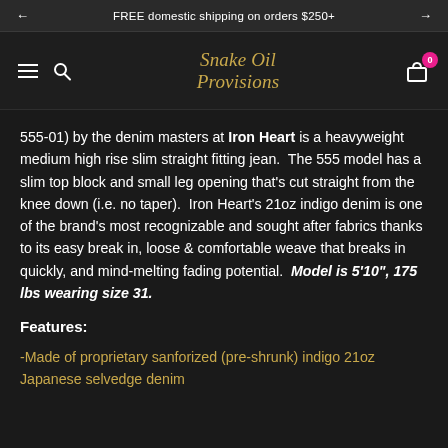FREE domestic shipping on orders $250+
[Figure (logo): Snake Oil Provisions cursive gold logo with hamburger menu, search icon, and cart icon with badge showing 0]
555-01) by the denim masters at Iron Heart is a heavyweight medium high rise slim straight fitting jean.  The 555 model has a slim top block and small leg opening that's cut straight from the knee down (i.e. no taper).  Iron Heart's 21oz indigo denim is one of the brand's most recognizable and sought after fabrics thanks to its easy break in, loose & comfortable weave that breaks in quickly, and mind-melting fading potential.  Model is 5'10", 175 lbs wearing size 31.
Features:
-Made of proprietary sanforized (pre-shrunk) indigo 21oz Japanese selvedge denim